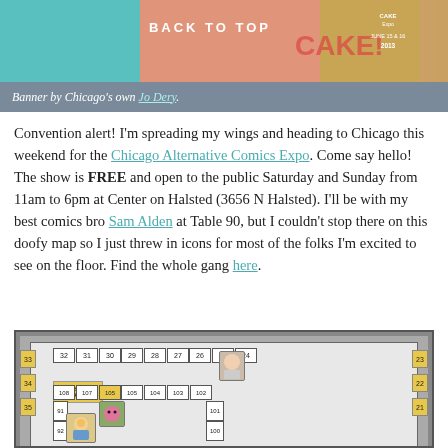[Figure (illustration): Website banner image with teal and peach tones, 'BACK TO TOP' text overlay, and CAKE expo badge in upper right showing June 15 & 16, 2013]
Banner by Chicago's own Jo Dery.
Convention alert! I'm spreading my wings and heading to Chicago this weekend for the Chicago Alternative Comics Expo. Come say hello! The show is FREE and open to the public Saturday and Sunday from 11am to 6pm at Center on Halsted (3656 N Halsted). I'll be with my best comics bro Sam Alden at Table 90, but I couldn't stop there on this doofy map so I just threw in icons for most of the folks I'm excited to see on the floor. Find the whole gang here.
[Figure (illustration): Floor map of CAKE convention showing numbered tables (21-35, 90-110+) with illustrated character icons at some tables, grey background with white table layout]